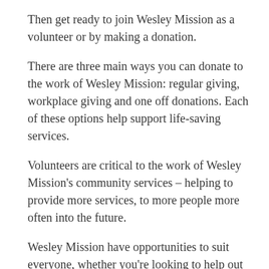Then get ready to join Wesley Mission as a volunteer or by making a donation.
There are three main ways you can donate to the work of Wesley Mission: regular giving, workplace giving and one off donations. Each of these options help support life-saving services.
Volunteers are critical to the work of Wesley Mission's community services – helping to provide more services, to more people more often into the future.
Wesley Mission have opportunities to suit everyone, whether you're looking to help out at the head office or are ready to take on a challenge with colleagues or school mates.
Wesley Mission are supported by almost 4,000